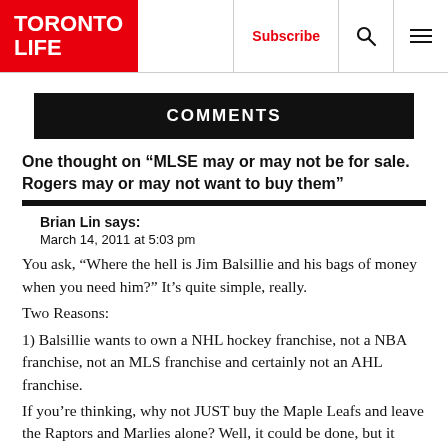TORONTO LIFE | Subscribe | (search icon) | (menu icon)
COMMENTS
One thought on “MLSE may or may not be for sale. Rogers may or may not want to buy them”
Brian Lin says:
March 14, 2011 at 5:03 pm
You ask, “Where the hell is Jim Balsillie and his bags of money when you need him?” It’s quite simple, really.
Two Reasons:
1) Balsillie wants to own a NHL hockey franchise, not a NBA franchise, not an MLS franchise and certainly not an AHL franchise.
If you’re thinking, why not JUST buy the Maple Leafs and leave the Raptors and Marlies alone? Well, it could be done, but it would require a lot of legal work from the MLSE to separate the individual franchises from one another.